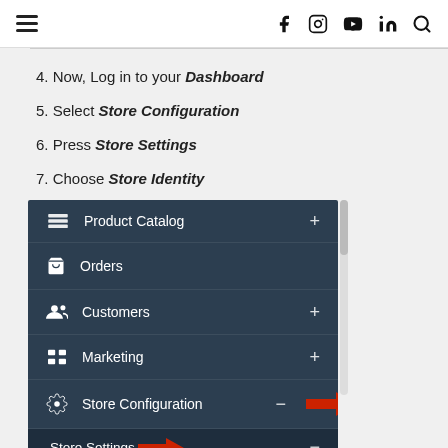Navigation bar with hamburger menu and social icons
4. Now, Log in to your Dashboard
5. Select Store Configuration
6. Press Store Settings
7. Choose Store Identity
[Figure (screenshot): Dashboard sidebar menu showing: Product Catalog (+), Orders, Customers (+), Marketing (+), Store Configuration (- with red arrow), Store Settings (- with red arrow)]